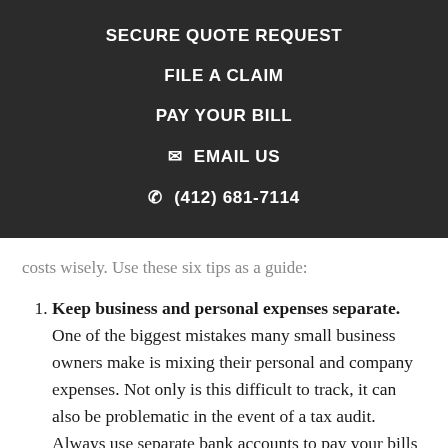SECURE QUOTE REQUEST
FILE A CLAIM
PAY YOUR BILL
✉ EMAIL US
✆ (412) 681-7114
costs wisely. Use these six tips as a guide:
Keep business and personal expenses separate. One of the biggest mistakes many small business owners make is mixing their personal and company expenses. Not only is this difficult to track, it can also be problematic in the event of a tax audit. Always use separate bank accounts to pay your bills and carry two